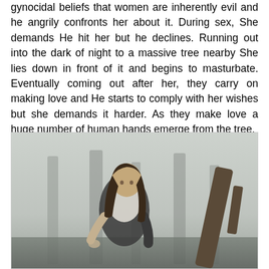gynocidal beliefs that women are inherently evil and he angrily confronts her about it. During sex, She demands He hit her but he declines. Running out into the dark of night to a massive tree nearby She lies down in front of it and begins to masturbate. Eventually coming out after her, they carry on making love and He starts to comply with her wishes but she demands it harder. As they make love a huge number of human hands emerge from the tree.
[Figure (photo): A woman with long dark hair wearing a white lace top and dark vest/jacket, crouching in a misty forest setting with large tree trunks visible in the foggy background.]